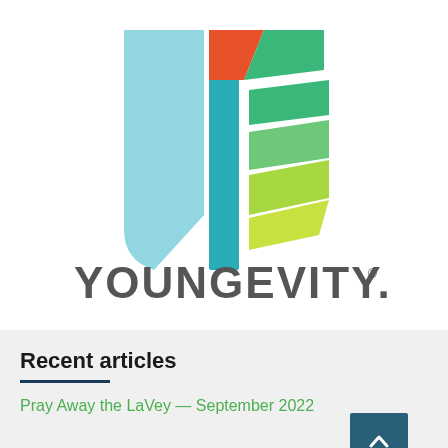[Figure (logo): Youngevity logo — colorful geometric 3D cube/shield shape with stripes in orange, teal, green, and yellow-green, with the word YOUNGEVITY in bold dark gray sans-serif letters below and a registered trademark symbol]
Recent articles
Pray Away the LaVey — September 2022